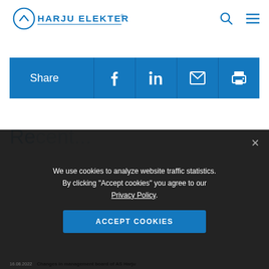HARJU ELEKTER
[Figure (screenshot): Share bar with Facebook, LinkedIn, email, and print icons on blue background]
Recent releases
We use cookies to analyze website traffic statistics. By clicking “Accept cookies” you agree to our Privacy Policy.
ACCEPT COOKIES
Changes in management board of AS Harju